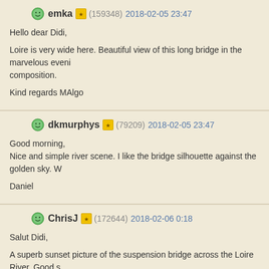emka (159348) 2018-02-05 23:47
Hello dear Didi,

Loire is very wide here. Beautiful view of this long bridge in the marvelous evening light and color. Good composition.

Kind regards MAlgo
dkmurphys (79209) 2018-02-05 23:47
Good morning,
Nice and simple river scene. I like the bridge silhouette against the golden sky. W

Daniel
ChrisJ (172644) 2018-02-06 0:18
Salut Didi,

A superb sunset picture of the suspension bridge across the Loire River. Good shot with the color contrasts between the orange and blue tones. Tfs!